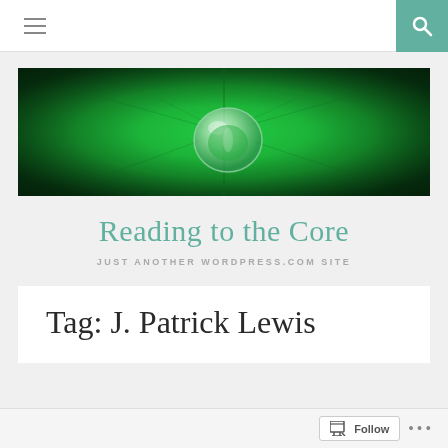≡  [search]
[Figure (photo): Close-up photo of a water droplet on a green leaf, with the droplet acting as a lens reflecting the leaf beneath it. The image is rich in vivid green tones with dark edges.]
Reading to the Core
JUST ANOTHER WORDPRESS.COM SITE
Tag: J. Patrick Lewis
Follow  ...